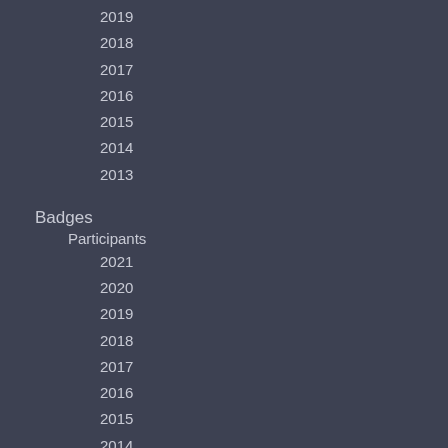2019
2018
2017
2016
2015
2014
2013
Badges
Participants
2021
2020
2019
2018
2017
2016
2015
2014
2013